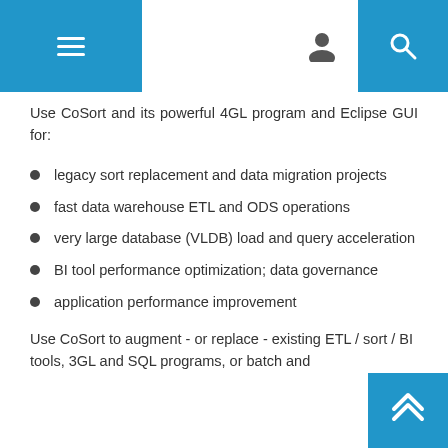Navigation header with menu, user, and search icons
Use CoSort and its powerful 4GL program and Eclipse GUI for:
legacy sort replacement and data migration projects
fast data warehouse ETL and ODS operations
very large database (VLDB) load and query acceleration
BI tool performance optimization; data governance
application performance improvement
Use CoSort to augment - or replace - existing ETL / sort / BI tools, 3GL and SQL programs, or batch and